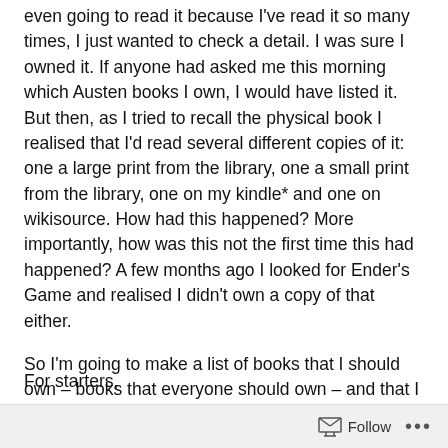even going to read it because I've read it so many times, I just wanted to check a detail. I was sure I owned it. If anyone had asked me this morning which Austen books I own, I would have listed it. But then, as I tried to recall the physical book I realised that I'd read several different copies of it: one a large print from the library, one a small print from the library, one on my kindle* and one on wikisource. How had this happened? More importantly, how was this not the first time this had happened? A few months ago I looked for Ender's Game and realised I didn't own a copy of that either.
So I'm going to make a list of books that I should own – books that everyone should own – and that I think I own but actually I don't.
Follow